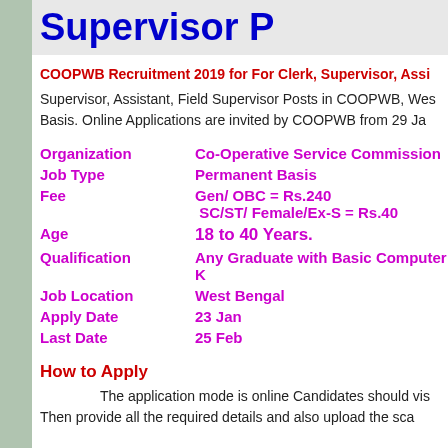Supervisor P
COOPWB Recruitment 2019 for For Clerk, Supervisor, Assi...
Supervisor, Assistant, Field Supervisor Posts in COOPWB, West Bengal on Permanent Basis. Online Applications are invited by COOPWB from 29 Jan...
| Field | Value |
| --- | --- |
| Organization | Co-Operative Service Commission |
| Job Type | Permanent Basis |
| Fee | Gen/ OBC =  Rs.240
SC/ST/ Female/Ex-S = Rs.40 |
| Age | 18 to 40 Years. |
| Qualification | Any Graduate with Basic Computer K... |
| Job Location | West Bengal |
| Apply Date | 23 Jan |
| Last Date | 25 Feb |
How to Apply
The application mode is online Candidates should vis... Then provide all the required details and also upload the sca...